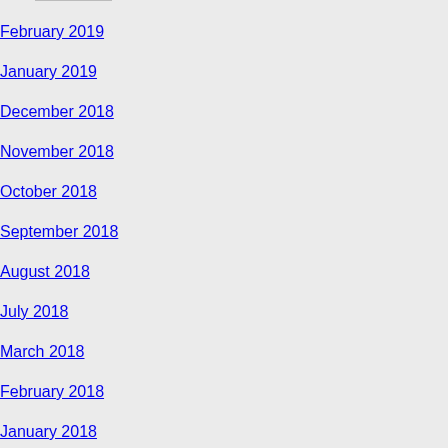February 2019
January 2019
December 2018
November 2018
October 2018
September 2018
August 2018
July 2018
March 2018
February 2018
January 2018
November 2017
October 2017